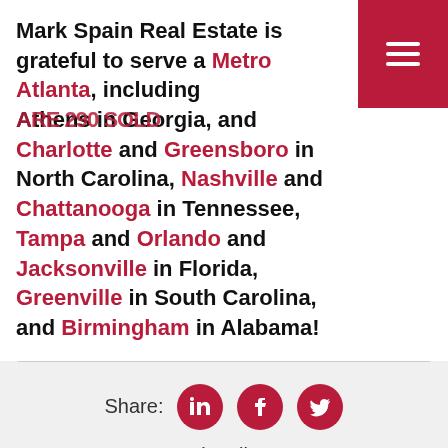Mark Spain Real Estate is grateful to serve Metro Atlanta, including Athens in Georgia, and Charlotte and Greensboro in North Carolina, Nashville and Chattanooga in Tennessee, Tampa and Orlando and Jacksonville in Florida, Greenville in South Carolina, and Birmingham in Alabama!
[Figure (screenshot): Red navigation bar with hamburger menu icon (three white horizontal lines)]
Share:
[Figure (logo): LinkedIn, Facebook, and Twitter social media icons as white icons on dark red circular backgrounds]
Subscribe:
Newest Posts
All Posts